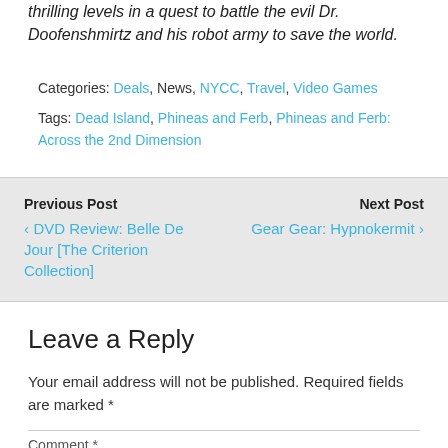thrilling levels in a quest to battle the evil Dr. Doofenshmirtz and his robot army to save the world.
Categories: Deals, News, NYCC, Travel, Video Games
Tags: Dead Island, Phineas and Ferb, Phineas and Ferb: Across the 2nd Dimension
Previous Post ‹ DVD Review: Belle De Jour [The Criterion Collection]
Next Post Gear Gear: Hypnokermit ›
Leave a Reply
Your email address will not be published. Required fields are marked *
Comment *